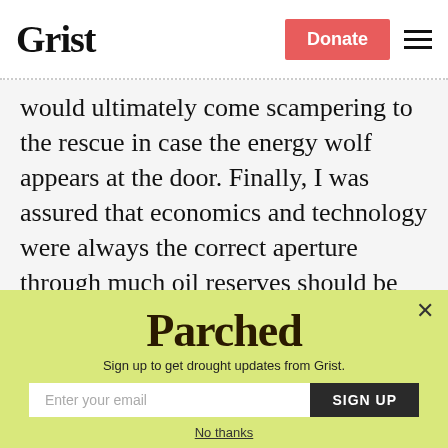Grist | Donate
would ultimately come scampering to the rescue in case the energy wolf appears at the door. Finally, I was assured that economics and technology were always the correct aperture through much oil reserves should be scrutinized. Geology was taken to be of minor importance.
[Figure (screenshot): Parched newsletter signup popup with yellow-green background. Contains 'Parched' logo text, subtitle 'Sign up to get drought updates from Grist.', an email input field, a SIGN UP button, and a 'No thanks' link. A close (×) button appears in the top right corner.]